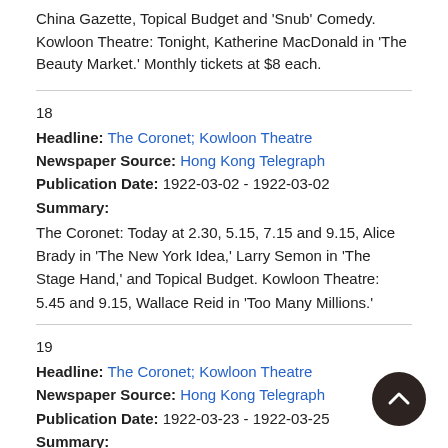China Gazette, Topical Budget and 'Snub' Comedy. Kowloon Theatre: Tonight, Katherine MacDonald in 'The Beauty Market.' Monthly tickets at $8 each.
18
Headline: The Coronet; Kowloon Theatre
Newspaper Source: Hong Kong Telegraph
Publication Date: 1922-03-02 - 1922-03-02
Summary:
The Coronet: Today at 2.30, 5.15, 7.15 and 9.15, Alice Brady in 'The New York Idea,' Larry Semon in 'The Stage Hand,' and Topical Budget. Kowloon Theatre: 5.45 and 9.15, Wallace Reid in 'Too Many Millions.'
19
Headline: The Coronet; Kowloon Theatre
Newspaper Source: Hong Kong Telegraph
Publication Date: 1922-03-23 - 1922-03-25
Summary:
The Coronet: Tonight at 2.30, 5.15, 7.15 and 9.15, 'Go and Get It.' Kowloon Theatre: Tonight at 9.15 p.m., Mary Pickford in 'The